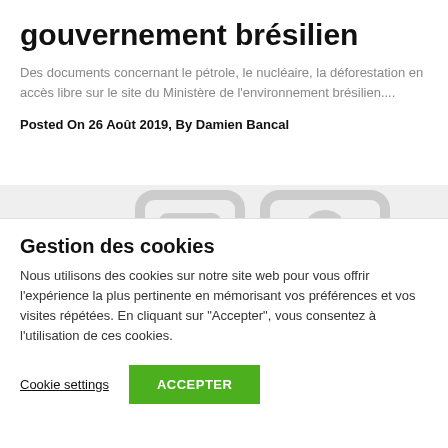gouvernement brésilien
Des documents concernant le pétrole, le nucléaire, la déforestation en accès libre sur le site du Ministère de l'environnement brésilien....
Posted On 26 Août 2019, By Damien Bancal
[Figure (screenshot): Partial screenshot of a webpage with image placeholder showing stylized icons, partially visible]
Gestion des cookies
Nous utilisons des cookies sur notre site web pour vous offrir l'expérience la plus pertinente en mémorisant vos préférences et vos visites répétées. En cliquant sur "Accepter", vous consentez à l'utilisation de ces cookies.
Cookie settings   ACCEPTER